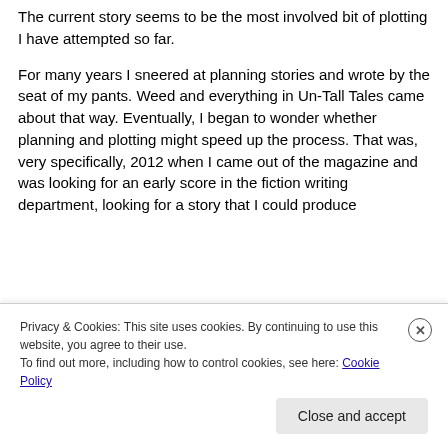The current story seems to be the most involved bit of plotting I have attempted so far.
For many years I sneered at planning stories and wrote by the seat of my pants. Weed and everything in Un-Tall Tales came about that way. Eventually, I began to wonder whether planning and plotting might speed up the process. That was, very specifically, 2012 when I came out of the magazine and was looking for an early score in the fiction writing department, looking for a story that I could produce
Privacy & Cookies: This site uses cookies. By continuing to use this website, you agree to their use.
To find out more, including how to control cookies, see here: Cookie Policy